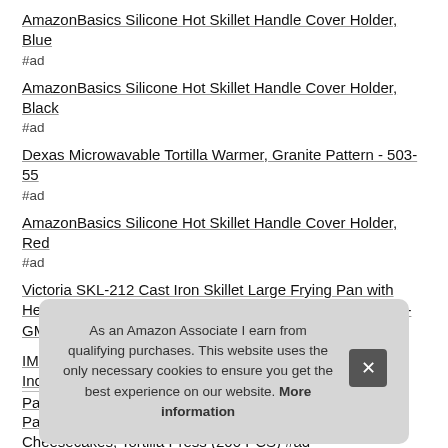AmazonBasics Silicone Hot Skillet Handle Cover Holder, Blue
#ad
AmazonBasics Silicone Hot Skillet Handle Cover Holder, Black
#ad
Dexas Microwavable Tortilla Warmer, Granite Pattern - 503-55
#ad
AmazonBasics Silicone Hot Skillet Handle Cover Holder, Red
#ad
Victoria SKL-212 Cast Iron Skillet Large Frying Pan with Helper Handle Seasoned with 100% Kosher Certified Non-GMO Flaxseed Oil, 12 Inch, Black #ad
IMU... Inch...
Par...
Pap...
Cheesecakes, Tortilla Press (200 PCS) #ad
As an Amazon Associate I earn from qualifying purchases. This website uses the only necessary cookies to ensure you get the best experience on our website. More information